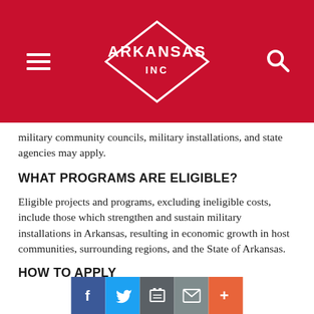ARKANSAS INC
military community councils, military installations, and state agencies may apply.
WHAT PROGRAMS ARE ELIGIBLE?
Eligible projects and programs, excluding ineligible costs, include those which strengthen and sustain military installations in Arkansas, resulting in economic growth in host communities, surrounding regions, and the State of Arkansas.
HOW TO APPLY
Submit a completed application.
For projects within the legal boundaries of a military